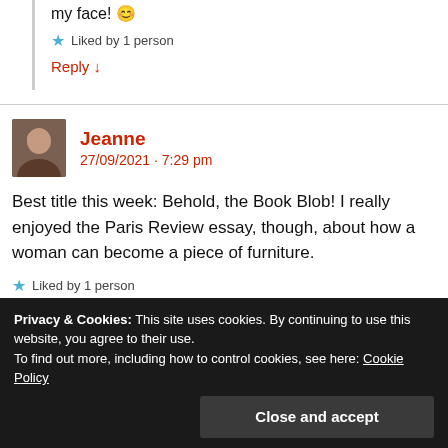my face! 😊
★ Liked by 1 person
Reply ↓
Jeanne
27/09/2021 · 7:29 pm
Best title this week: Behold, the Book Blob! I really enjoyed the Paris Review essay, though, about how a woman can become a piece of furniture.
★ Liked by 1 person
Privacy & Cookies: This site uses cookies. By continuing to use this website, you agree to their use.
To find out more, including how to control cookies, see here: Cookie Policy
Close and accept